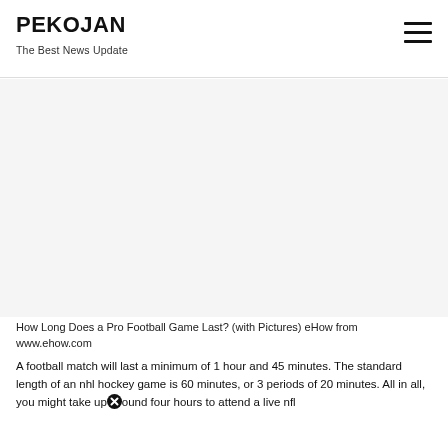PEKOJAN
The Best News Update
[Figure (other): Advertisement or placeholder image area, blank gray rectangle]
How Long Does a Pro Football Game Last? (with Pictures) eHow from www.ehow.com
A football match will last a minimum of 1 hour and 45 minutes. The standard length of an nhl hockey game is 60 minutes, or 3 periods of 20 minutes. All in all, you might take upⓧound four hours to attend a live nfl